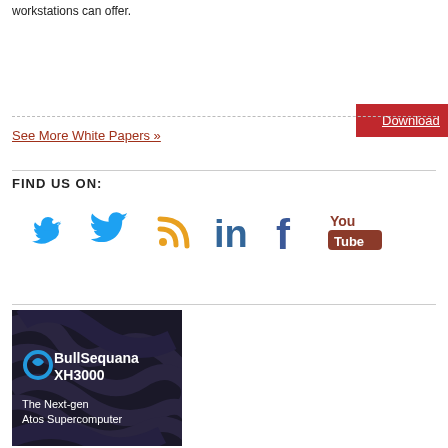workstations can offer.
Download
See More White Papers »
FIND US ON:
[Figure (infographic): Social media icons: Twitter (blue bird), RSS (orange), LinkedIn (blue), Facebook (blue), YouTube (red/brown)]
[Figure (illustration): BullSequana XH3000 - The Next-gen Atos Supercomputer advertisement banner with dark swirling pattern background and blue circular logo]